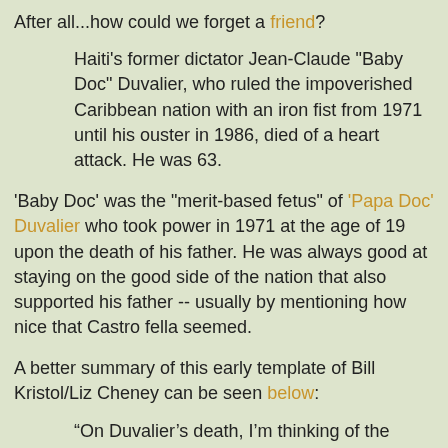After all...how could we forget a friend?
Haiti's former dictator Jean-Claude "Baby Doc" Duvalier, who ruled the impoverished Caribbean nation with an iron fist from 1971 until his ouster in 1986, died of a heart attack. He was 63.
'Baby Doc' was the "merit-based fetus" of 'Papa Doc' Duvalier who took power in 1971 at the age of 19 upon the death of his father. He was always good at staying on the good side of the nation that also supported his father -- usually by mentioning how nice that Castro fella seemed.
A better summary of this early template of Bill Kristol/Liz Cheney can be seen below:
“On Duvalier’s death, I’m thinking of the look in my mother’s eyes when she talks about her brother Joel, who was disappeared by that dictator,” Patrick Gaspard, the American ambassador to South Africa, who is Haitian-American, posted on Twitter on Saturday. “News of the passing of Duvalier makes me honor my